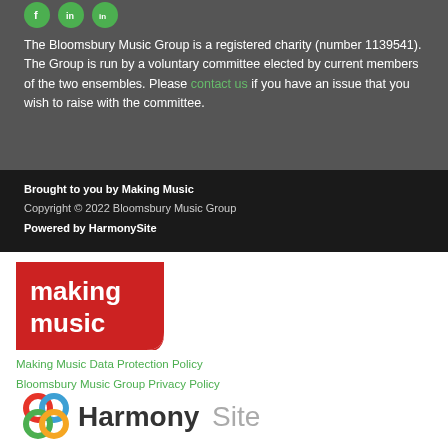[Figure (logo): Three green circular social media icon buttons (Facebook, Twitter/X, LinkedIn) on dark grey background]
The Bloomsbury Music Group is a registered charity (number 1139541). The Group is run by a voluntary committee elected by current members of the two ensembles. Please contact us if you have an issue that you wish to raise with the committee.
Brought to you by Making Music
Copyright © 2022 Bloomsbury Music Group
Powered by HarmonySite
[Figure (logo): Making Music logo - red background with white bold text reading 'making music' with a curved tail shape]
Making Music Data Protection Policy
Bloomsbury Music Group Privacy Policy
[Figure (logo): HarmonySite logo with colourful interlocking circles and text HarmonySite]